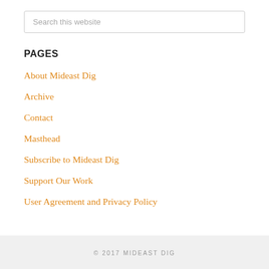Search this website
PAGES
About Mideast Dig
Archive
Contact
Masthead
Subscribe to Mideast Dig
Support Our Work
User Agreement and Privacy Policy
© 2017 MIDEAST DIG